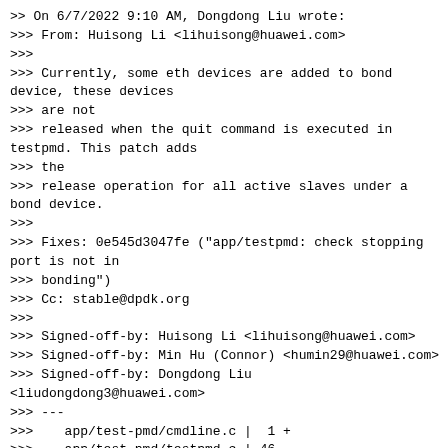>> On 6/7/2022 9:10 AM, Dongdong Liu wrote:
>>> From: Huisong Li <lihuisong@huawei.com>
>>>
>>> Currently, some eth devices are added to bond device, these devices
>>> are not
>>> released when the quit command is executed in testpmd. This patch adds
>>> the
>>> release operation for all active slaves under a bond device.
>>>
>>> Fixes: 0e545d3047fe ("app/testpmd: check stopping port is not in
>>> bonding")
>>> Cc: stable@dpdk.org
>>>
>>> Signed-off-by: Huisong Li <lihuisong@huawei.com>
>>> Signed-off-by: Min Hu (Connor) <humin29@huawei.com>
>>> Signed-off-by: Dongdong Liu
<liudongdong3@huawei.com>
>>> ---
>>>    app/test-pmd/cmdline.c |  1 +
>>>    app/test-pmd/testpmd.c | 46
++++++++++++++++++++++++++++++++++++++++++++
>>>    app/test-pmd/testpmd.h |  2 ++
>>>    3 files changed, 49 insertions(+)
>>>
>>> diff --git a/app/test-pmd/cmdline.c b/app/test-pmd/cmdline.c